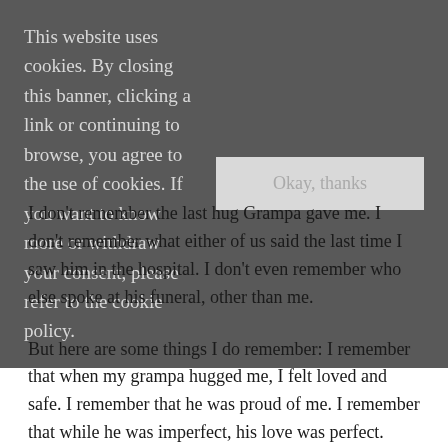This website uses cookies. By closing this banner, clicking a link or continuing to browse, you agree to the use of cookies. If you want to know more or withdraw your consent, please refer to the cookie policy.
I don't remember the last hug Grampa gave me. I don't remember what either of us said the last time I saw him in the hospital. I don't even remember who else spoke at his funeral, other than me.
But here are some things I do remember: I remember that when my grampa hugged me, I felt loved and safe. I remember that he was proud of me. I remember that while he was imperfect, his love was perfect.
Memory is a fickle, elusive thing that slips away with time. But it's a beautiful thing, too. Because no matter how many details it obscures from our minds as the years turn into decades...